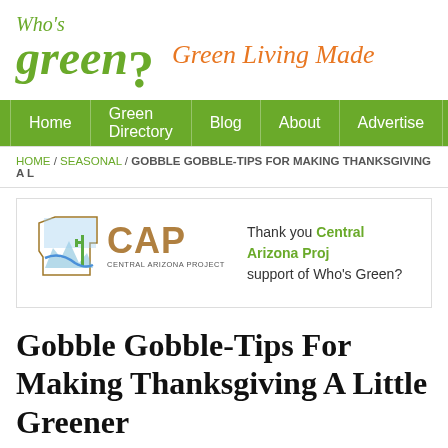[Figure (logo): Who's Green? website logo with green serif italic text and orange tagline 'Green Living Made']
Home | Green Directory | Blog | About | Advertise
HOME / SEASONAL / GOBBLE GOBBLE-TIPS FOR MAKING THANKSGIVING A L
[Figure (logo): Central Arizona Project (CAP) logo with Arizona state outline illustration and brown CAP letters]
Thank you Central Arizona Proj support of Who's Green?
Gobble Gobble-Tips For Making Thanksgiving A Little Greener
Posted November 12, 2016 · Leave a Comment    Tweet